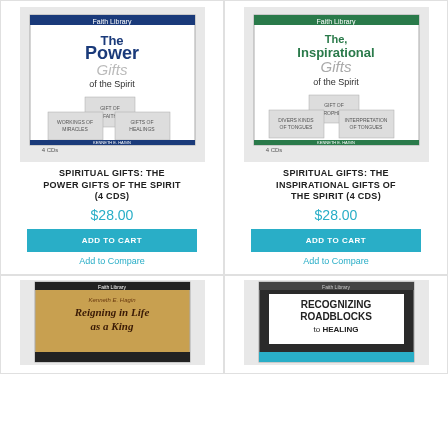[Figure (photo): CD set cover: The Power Gifts of the Spirit, Kenneth E. Hagin, 4 CDs]
[Figure (photo): CD set cover: The Inspirational Gifts of the Spirit, Kenneth E. Hagin, 4 CDs]
SPIRITUAL GIFTS: THE POWER GIFTS OF THE SPIRIT (4 CDS)
$28.00
ADD TO CART
Add to Compare
SPIRITUAL GIFTS: THE INSPIRATIONAL GIFTS OF THE SPIRIT (4 CDS)
$28.00
ADD TO CART
Add to Compare
[Figure (photo): Book cover: Reigning in Life as a King by Kenneth E. Hagin, Faith Library]
[Figure (photo): Book cover: Recognizing Roadblocks to Healing, Faith Library]